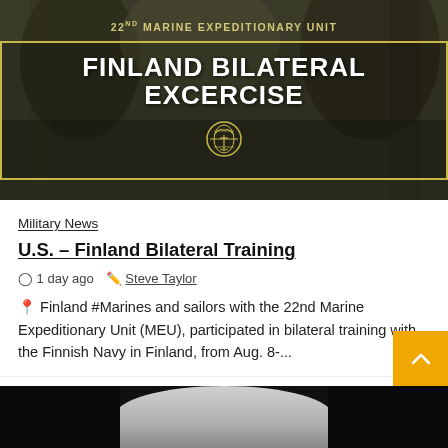[Figure (photo): Military personnel in combat gear. Hero graphic overlay reading '22nd Marine Expeditionary Unit — FINLAND BILATERAL EXCERCISE' with USMC eagle globe and anchor emblem.]
Military News
U.S. – Finland Bilateral Training
1 day ago   Steve Taylor
📍 Finland #Marines and sailors with the 22nd Marine Expeditionary Unit (MEU), participated in bilateral training with the Finnish Navy in Finland, from Aug. 8-...
[Figure (photo): Partial bottom image, mostly dark/black with a light circular element visible.]